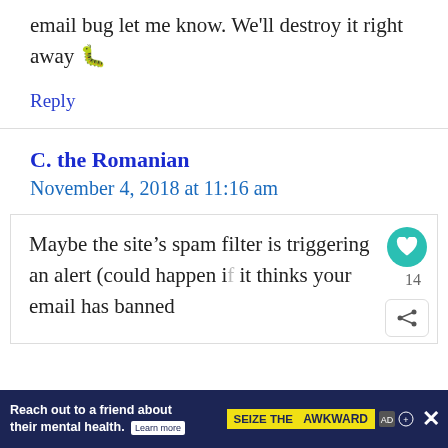email bug let me know. We'll destroy it right away 🐛
Reply
C. the Romanian
November 4, 2018 at 11:16 am
Maybe the site's spam filter is triggering an alert (could happen if it thinks your email has banned
Reach out to a friend about their mental health. Learn more   SEIZE THE AWKWARD